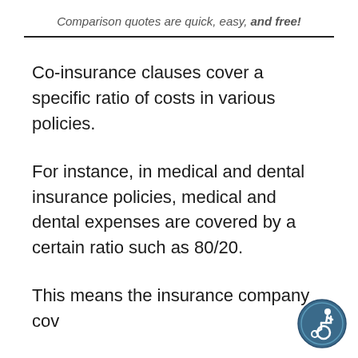Comparison quotes are quick, easy, and free!
Co-insurance clauses cover a specific ratio of costs in various policies.
For instance, in medical and dental insurance policies, medical and dental expenses are covered by a certain ratio such as 80/20.
This means the insurance company cov...